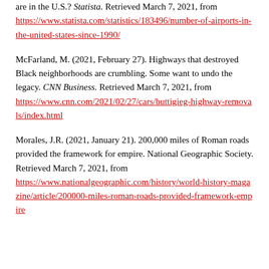are in the U.S.? Statista. Retrieved March 7, 2021, from https://www.statista.com/statistics/183496/number-of-airports-in-the-united-states-since-1990/
McFarland, M. (2021, February 27). Highways that destroyed Black neighborhoods are crumbling. Some want to undo the legacy. CNN Business. Retrieved March 7, 2021, from https://www.cnn.com/2021/02/27/cars/buttigieg-highway-removals/index.html
Morales, J.R. (2021, January 21). 200,000 miles of Roman roads provided the framework for empire. National Geographic Society. Retrieved March 7, 2021, from https://www.nationalgeographic.com/history/world-history-magazine/article/200000-miles-roman-roads-provided-framework-empire